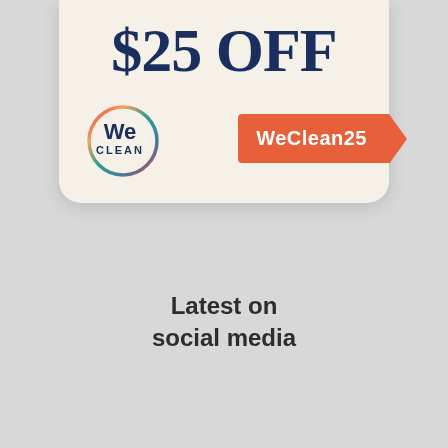[Figure (logo): WeClean coupon card with '$25 OFF' headline in dark navy serif font, WeClean logo circle with multicolor border on the left, and an orange arrow/banner badge reading 'WeClean25' on the right. Background is cream/off-white.]
Latest on
social media